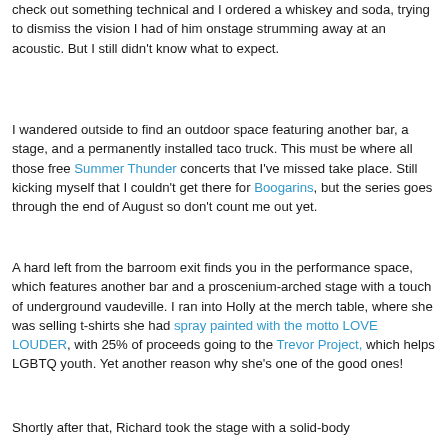check out something technical and I ordered a whiskey and soda, trying to dismiss the vision I had of him onstage strumming away at an acoustic. But I still didn't know what to expect.
I wandered outside to find an outdoor space featuring another bar, a stage, and a permanently installed taco truck. This must be where all those free Summer Thunder concerts that I've missed take place. Still kicking myself that I couldn't get there for Boogarins, but the series goes through the end of August so don't count me out yet.
A hard left from the barroom exit finds you in the performance space, which features another bar and a proscenium-arched stage with a touch of underground vaudeville. I ran into Holly at the merch table, where she was selling t-shirts she had spray painted with the motto LOVE LOUDER, with 25% of proceeds going to the Trevor Project, which helps LGBTQ youth. Yet another reason why she's one of the good ones!
Shortly after that, Richard took the stage with a solid-body